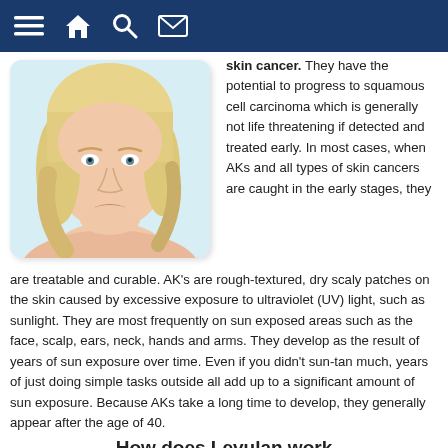navigation bar with menu, home, search, mail icons
[Figure (photo): Portrait photo of a middle-aged blonde woman with light skin, looking at camera, on light blue background, displayed in a rounded-corner card]
skin cancer. They have the potential to progress to squamous cell carcinoma which is generally not life threatening if detected and treated early. In most cases, when AKs and all types of skin cancers are caught in the early stages, they are treatable and curable. AK's are rough-textured, dry scaly patches on the skin caused by excessive exposure to ultraviolet (UV) light, such as sunlight. They are most frequently on sun exposed areas such as the face, scalp, ears, neck, hands and arms. They develop as the result of years of sun exposure over time. Even if you didn't sun-tan much, years of just doing simple tasks outside all add up to a significant amount of sun exposure. Because AKs take a long time to develop, they generally appear after the age of 40.
How does Levulan work